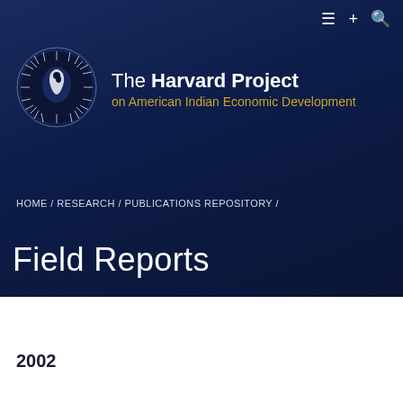[Figure (logo): The Harvard Project on American Indian Economic Development logo — circular emblem with eagle/bird silhouette surrounded by radiating white lines on dark background]
The Harvard Project on American Indian Economic Development
HOME / RESEARCH / PUBLICATIONS REPOSITORY /
Field Reports
2002